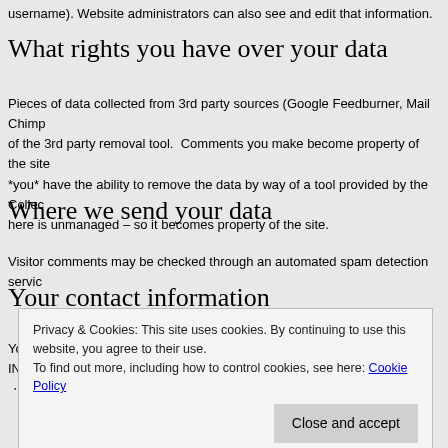username). Website administrators can also see and edit that information.
What rights you have over your data
Pieces of data collected from 3rd party sources (Google Feedburner, Mail Chimp of the 3rd party removal tool. Comments you make become property of the site *you* have the ability to remove the data by way of a tool provided by the Collec here is unmanaged – so it becomes property of the site.
Where we send your data
Visitor comments may be checked through an automated spam detection servic
Your contact information
You can reach the site administrator at anytime by emailing INFO@TheToneKin
Additional information
Privacy & Cookies: This site uses cookies. By continuing to use this website, you agree to their use.
To find out more, including how to control cookies, see here: Cookie Policy
Close and accept